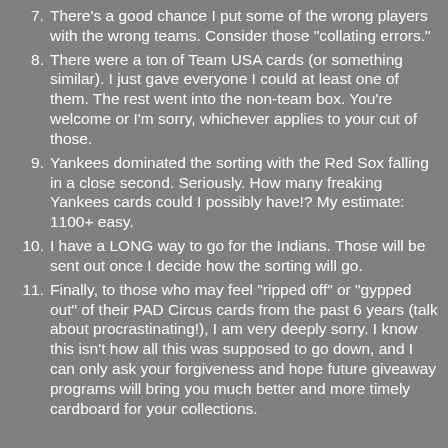7. There's a good chance I put some of the wrong players with the wrong teams. Consider those "collating errors."
8. There were a ton of Team USA cards (or something similar). I just gave everyone I could at least one of them. The rest went into the non-team box. You're welcome or I'm sorry, whichever applies to your cut of those.
9. Yankees dominated the sorting with the Red Sox falling in a close second. Seriously. How many freaking Yankees cards could I possibly have!? My estimate: 1100+ easy.
10. I have a LONG way to go for the Indians. Those will be sent out once I decide how the sorting will go.
11. Finally, to those who may feel "ripped off" or "gypped out" of their PAD Circus cards from the past 6 years (talk about procrastinating!), I am very deeply sorry. I know this isn't how all this was supposed to go down, and I can only ask your forgiveness and hope future giveaway programs will bring you much better and more timely cardboard for your collections.